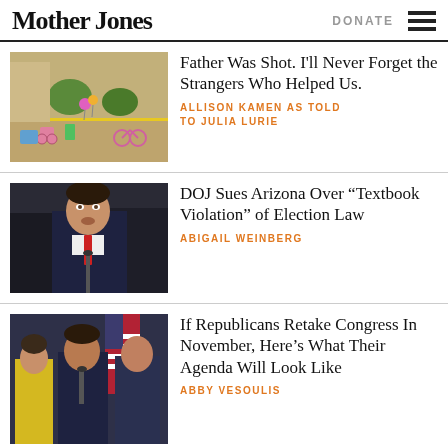Mother Jones | DONATE
[Figure (photo): Outdoor scene with colorful bicycles, chairs, and balloons on a brick plaza]
Father Was Shot. I'll Never Forget the Strangers Who Helped Us.
ALLISON KAMEN AS TOLD TO JULIA LURIE
[Figure (photo): Politician in dark suit with red tie speaking at a microphone]
DOJ Sues Arizona Over “Textbook Violation” of Election Law
ABIGAIL WEINBERG
[Figure (photo): Republicans at a press conference podium with American flags]
If Republicans Retake Congress In November, Here’s What Their Agenda Will Look Like
ABBY VESOULIS